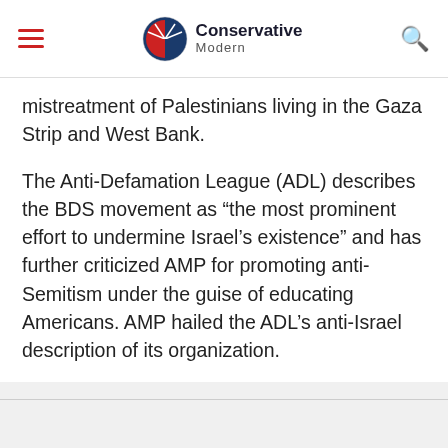Conservative Modern
mistreatment of Palestinians living in the Gaza Strip and West Bank.
The Anti-Defamation League (ADL) describes the BDS movement as “the most prominent effort to undermine Israel’s existence” and has further criticized AMP for promoting anti-Semitism under the guise of educating Americans. AMP hailed the ADL’s anti-Israel description of its organization.